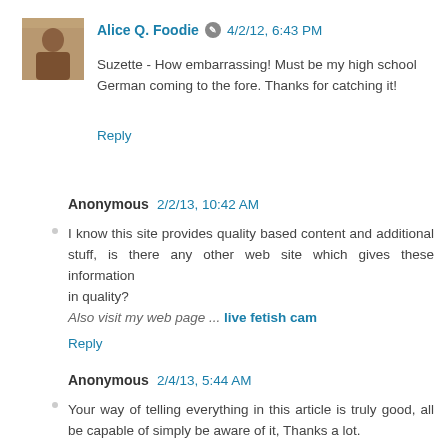[Figure (photo): Small square avatar photo of Alice Q. Foodie, showing a person indoors]
Alice Q. Foodie ✏ 4/2/12, 6:43 PM
Suzette - How embarrassing! Must be my high school German coming to the fore. Thanks for catching it!
Reply
Anonymous 2/2/13, 10:42 AM
I know this site provides quality based content and additional stuff, is there any other web site which gives these information
in quality?
Also visit my web page ... live fetish cam
Reply
Anonymous 2/4/13, 5:44 AM
Your way of telling everything in this article is truly good, all be capable of simply be aware of it, Thanks a lot.